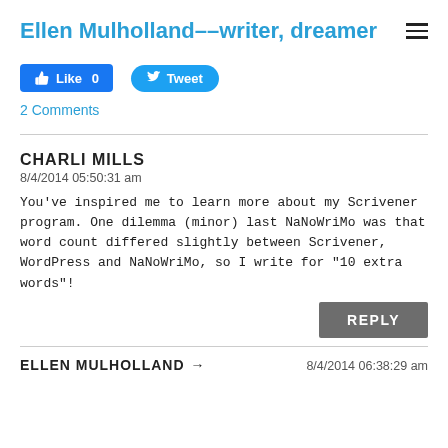Ellen Mulholland––writer, dreamer
[Figure (other): Facebook Like button (0 likes) and Twitter Tweet button]
2 Comments
CHARLI MILLS
8/4/2014 05:50:31 am
You've inspired me to learn more about my Scrivener program. One dilemma (minor) last NaNoWriMo was that word count differed slightly between Scrivener, WordPress and NaNoWriMo, so I write for "10 extra words"!
REPLY
ELLEN MULHOLLAND
8/4/2014 06:38:29 am